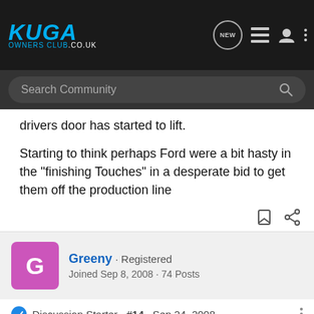Kuga Owners Club
drivers door has started to lift.
Starting to think perhaps Ford were a bit hasty in the "finishing Touches" in a desperate bid to get them off the production line
Greeny · Registered
Joined Sep 8, 2008 · 74 Posts
Discussion Starter · #14 · Sep 24, 2008
Should've also added